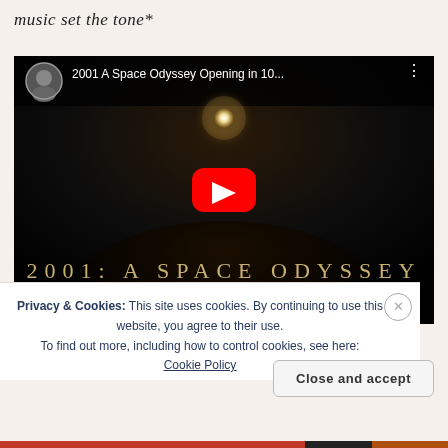music set the tone*
[Figure (screenshot): YouTube video thumbnail for '2001 A Space Odyssey Opening in 10...' showing the 2001: A Space Odyssey title with a glowing orb above a dark planet silhouette and a large YouTube play button in the center]
Privacy & Cookies: This site uses cookies. By continuing to use this website, you agree to their use.
To find out more, including how to control cookies, see here: Cookie Policy
Close and accept